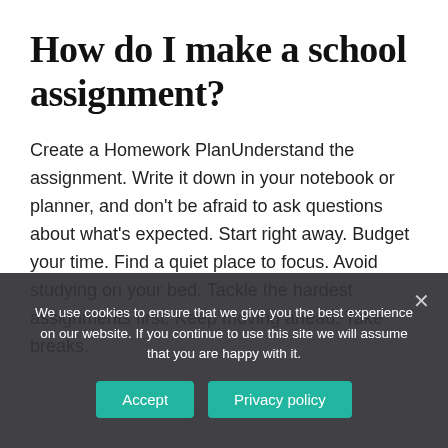How do I make a school assignment?
Create a Homework PlanUnderstand the assignment. Write it down in your notebook or planner, and don't be afraid to ask questions about what's expected. Start right away. Budget your time. Find a quiet place to focus. Avoid studying on your bed. Tackle the hardest assignments first. Keep moving ahead. Take breaks.
We use cookies to ensure that we give you the best experience on our website. If you continue to use this site we will assume that you are happy with it.